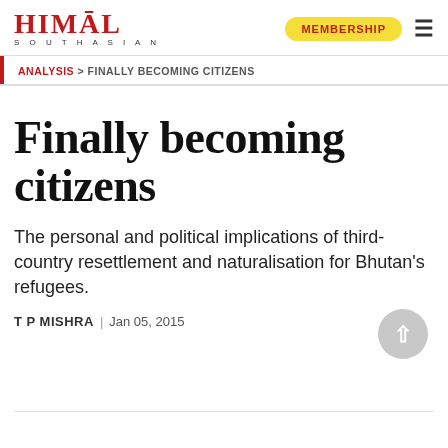HIMAL SOUTHASIAN | MEMBERSHIP
ANALYSIS > FINALLY BECOMING CITIZENS
Finally becoming citizens
The personal and political implications of third-country resettlement and naturalisation for Bhutan's refugees.
T P MISHRA | Jan 05, 2015